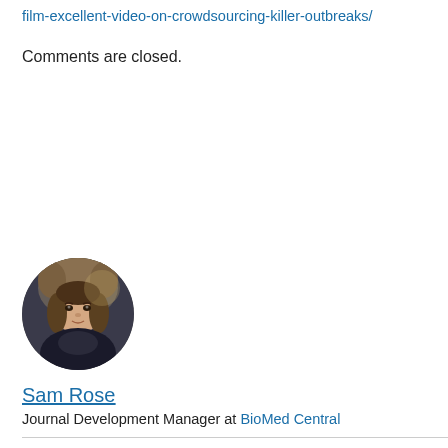film-excellent-video-on-crowdsourcing-killer-outbreaks/
Comments are closed.
[Figure (photo): Circular avatar photo of Sam Rose, a young man wearing a fur-hooded jacket, photographed outdoors at night.]
Sam Rose
Journal Development Manager at BioMed Central
Sam studied Biomedical Sciences at the University of Manchester, and is responsible for the development of BioMed Central's genetics journal